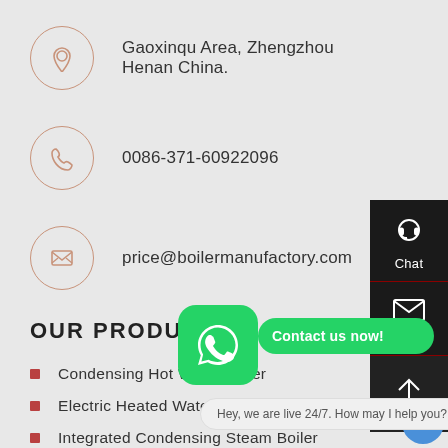Gaoxinqu Area, Zhengzhou Henan China.
0086-371-60922096
price@boilermanufactory.com
OUR PRODUCTS
Condensing Hot Water Boiler
Electric Heated Water Boiler
Integrated Condensing Steam Boiler
Split Condensing
[Figure (screenshot): Right sidebar with Chat and Email icons on dark background, WhatsApp contact button overlay, and live chat tooltip]
Chat
Email
Contact us now!
Hey, we are live 24/7. How may I help you?